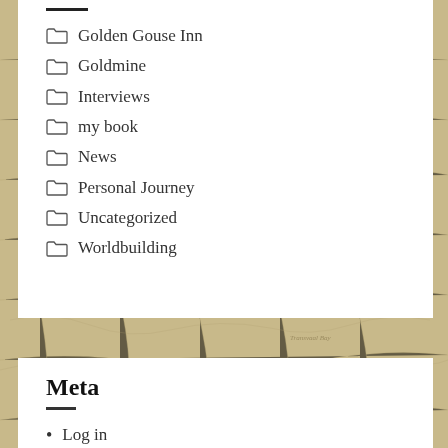Golden Gouse Inn
Goldmine
Interviews
my book
News
Personal Journey
Uncategorized
Worldbuilding
Meta
Log in